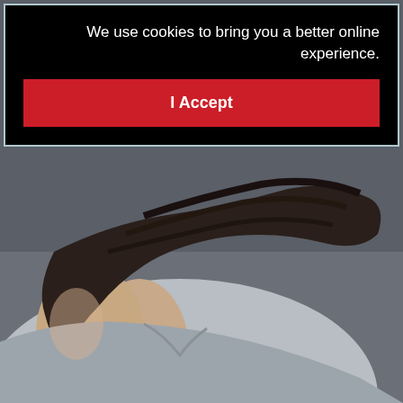[Figure (photo): Background photo of a woman with dark hair blowing in the wind, wearing a light grey jacket, photographed from behind/side against a dark grey background.]
We use cookies to bring you a better online experience.
I Accept